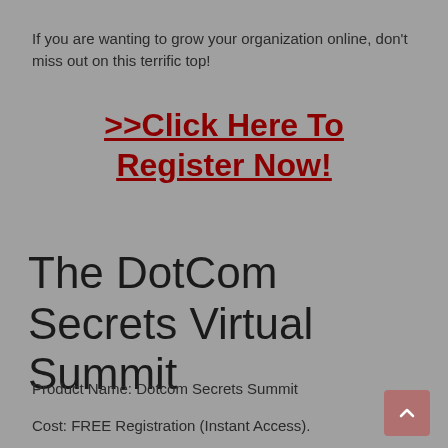If you are wanting to grow your organization online, don't miss out on this terrific top!
>>Click Here To Register Now!
The DotCom Secrets Virtual Summit
Product Name: Dotcom Secrets Summit
Cost: FREE Registration (Instant Access).